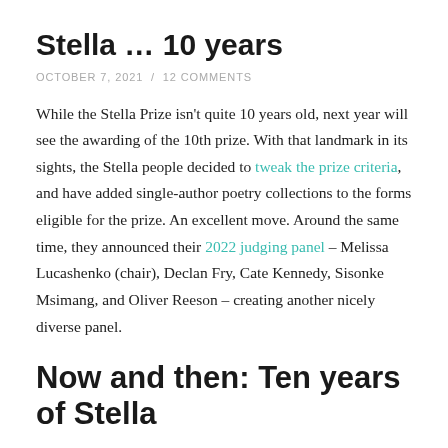Stella … 10 years
OCTOBER 7, 2021  /  12 COMMENTS
While the Stella Prize isn't quite 10 years old, next year will see the awarding of the 10th prize. With that landmark in its sights, the Stella people decided to tweak the prize criteria, and have added single-author poetry collections to the forms eligible for the prize. An excellent move. Around the same time, they announced their 2022 judging panel – Melissa Lucashenko (chair), Declan Fry, Cate Kennedy, Sisonke Msimang, and Oliver Reeson – creating another nicely diverse panel.
Now and then: Ten years of Stella